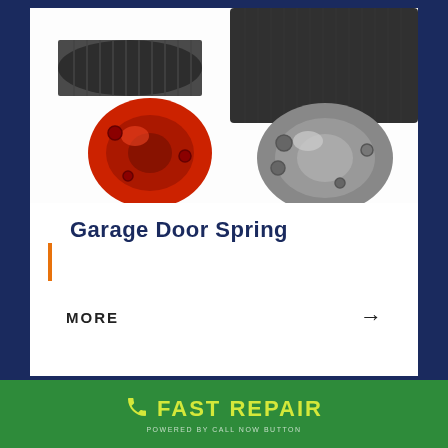[Figure (photo): Close-up photo of two garage door torsion springs with red and metallic end cones visible]
Garage Door Spring
MORE →
[Figure (photo): Partial photo of a garage door track or roller hardware component]
FAST REPAIR
POWERED BY CALL NOW BUTTON